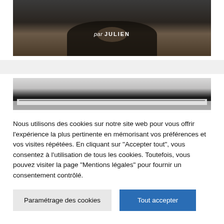[Figure (photo): Photo of a person in dark clothing sitting on the floor, with text overlay 'par JULIEN' in white italic/bold font]
[Figure (photo): Partial photo of a laptop computer showing the screen and keyboard area]
Nous utilisons des cookies sur notre site web pour vous offrir l'expérience la plus pertinente en mémorisant vos préférences et vos visites répétées. En cliquant sur "Accepter tout", vous consentez à l'utilisation de tous les cookies. Toutefois, vous pouvez visiter la page "Mentions légales" pour fournir un consentement contrôlé.
Paramétrage des cookies
Tout accepter